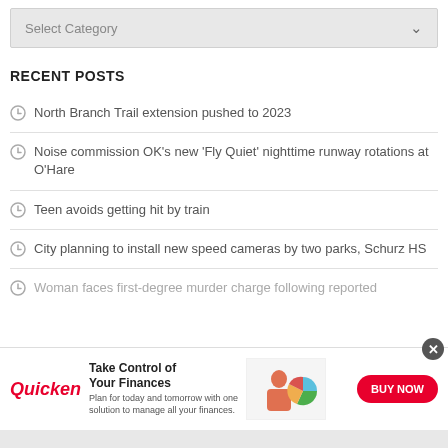Select Category
RECENT POSTS
North Branch Trail extension pushed to 2023
Noise commission OK's new 'Fly Quiet' nighttime runway rotations at O'Hare
Teen avoids getting hit by train
City planning to install new speed cameras by two parks, Schurz HS
Woman faces first-degree murder charge following reported
[Figure (screenshot): Quicken advertisement banner: 'Take Control of Your Finances' with BUY NOW button]